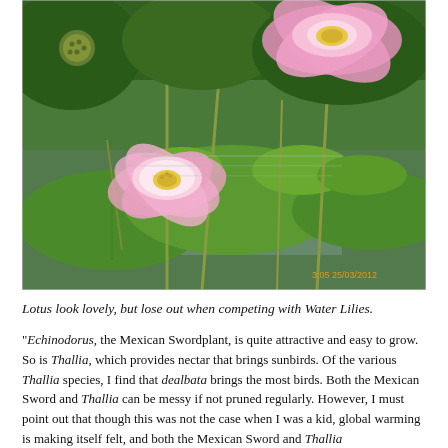[Figure (photo): Photograph of pink lotus flowers with large green lily pad leaves on a water garden pond. Two prominent pink lotus blooms are visible, one in the foreground left and one upper right. A date stamp '3:05 25/03/2012' appears in the lower right corner of the image.]
Lotus look lovely, but lose out when competing with Water Lilies.
“Echinodorus, the Mexican Swordplant, is quite attractive and easy to grow. So is Thallia, which provides nectar that brings sunbirds. Of the various Thallia species, I find that dealbata brings the most birds. Both the Mexican Sword and Thallia can be messy if not pruned regularly. However, I must point out that though this was not the case when I was a kid, global warming is making itself felt, and both the Mexican Sword and Thallia